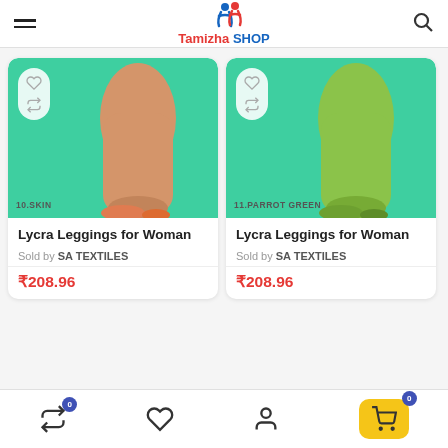Tamizha SHOP
[Figure (screenshot): Product card: Lycra Leggings for Woman (Skin color) on green background, with wishlist and compare icons, labeled 10.SKIN]
Lycra Leggings for Woman
Sold by SA TEXTILES
₹208.96
[Figure (screenshot): Product card: Lycra Leggings for Woman (Parrot Green color) on green background, with wishlist and compare icons, labeled 11.PARROT GREEN]
Lycra Leggings for Woman
Sold by SA TEXTILES
₹208.96
Bottom navigation bar with compare (badge 0), wishlist, profile, and cart (badge 0) icons